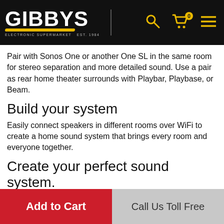GIBBYS — Electronic Supermarket Est. 1984
Pair with Sonos One or another One SL in the same room for stereo separation and more detailed sound. Use a pair as rear home theater surrounds with Playbar, Playbase, or Beam.
Build your system
Easily connect speakers in different rooms over WiFi to create a home sound system that brings every room and everyone together.
Create your perfect sound system.
Everything works together, and Sonos works with all your favourite services so you can listen to what you want, where you want, how you want.
Easy to use
Setup takes minutes, and control is simple with the
Add to Cart | Call Us Toll Free